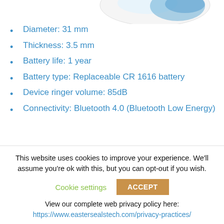[Figure (photo): Partial view of a small round white device (possibly a tracking or hearing device) with blue accents, shown against a white background.]
Diameter: 31 mm
Thickness: 3.5 mm
Battery life: 1 year
Battery type: Replaceable CR 1616 battery
Device ringer volume: 85dB
Connectivity: Bluetooth 4.0 (Bluetooth Low Energy)
This website uses cookies to improve your experience. We'll assume you're ok with this, but you can opt-out if you wish.
Cookie settings  ACCEPT
View our complete web privacy policy here:
https://www.eastersealstech.com/privacy-practices/